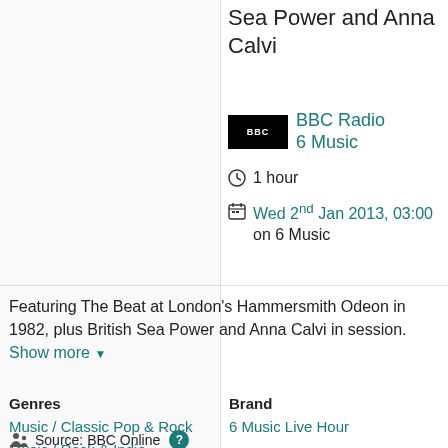Sea Power and Anna Calvi
BBC Radio 6 Music
1 hour
Wed 2nd Jan 2013, 03:00 on 6 Music
Featuring The Beat at London's Hammersmith Odeon in 1982, plus British Sea Power and Anna Calvi in session. Show more
Genres
Music / Classic Pop & Rock Music / Rock & Indie
Brand
6 Music Live Hour
Source: BBC Online